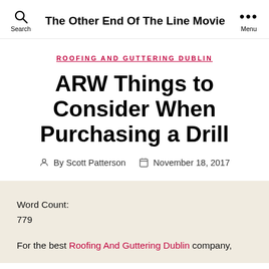The Other End Of The Line Movie
ROOFING AND GUTTERING DUBLIN
ARW Things to Consider When Purchasing a Drill
By Scott Patterson  November 18, 2017
Word Count:
779
For the best Roofing And Guttering Dublin company,